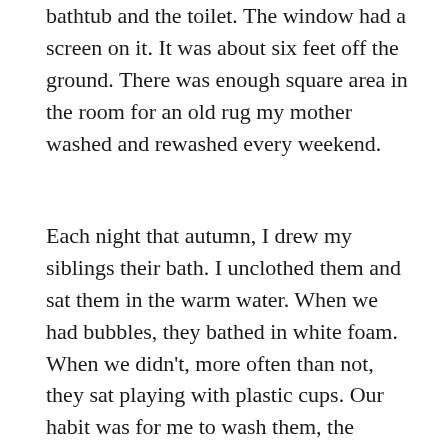bathtub and the toilet. The window had a screen on it. It was about six feet off the ground. There was enough square area in the room for an old rug my mother washed and rewashed every weekend.
Each night that autumn, I drew my siblings their bath. I unclothed them and sat them in the warm water. When we had bubbles, they bathed in white foam. When we didn't, more often than not, they sat playing with plastic cups. Our habit was for me to wash them, the youngest to the oldest. Then, I'd leave them to play in the bath while I gathered clean clothing as quickly as I could.